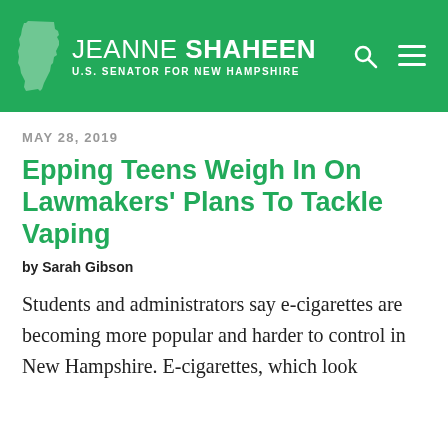JEANNE SHAHEEN U.S. SENATOR FOR NEW HAMPSHIRE
MAY 28, 2019
Epping Teens Weigh In On Lawmakers' Plans To Tackle Vaping
by Sarah Gibson
Students and administrators say e-cigarettes are becoming more popular and harder to control in New Hampshire. E-cigarettes, which look